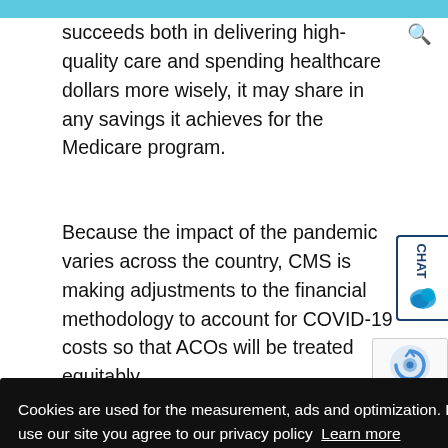succeeds both in delivering high-quality care and spending healthcare dollars more wisely, it may share in any savings it achieves for the Medicare program.
Because the impact of the pandemic varies across the country, CMS is making adjustments to the financial methodology to account for COVID-19 costs so that ACOs will be treated equitably
Cookies are used for the measurement, ads and optimization. By continuing to use our site you agree to our privacy policy Learn more
Got it!
ACOs that are required to increase their financial